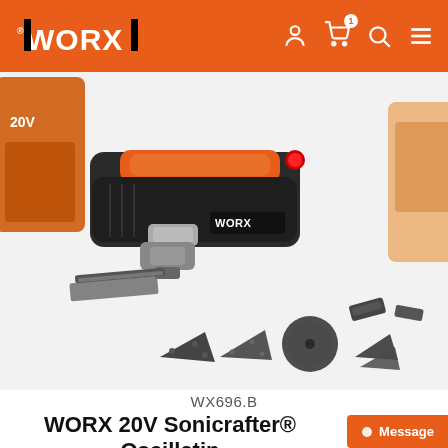WORX
[Figure (photo): WORX 20V Sonicrafter oscillating multi-tool shown with multiple attachments including triangular sanding pads, scraper blades, and cutting blades arranged below the tool. The tool is black and orange with WORX branding. A 20V battery is partially visible in the background.]
WX696.B
WORX 20V Sonicrafter® Oscillating Tool Kit